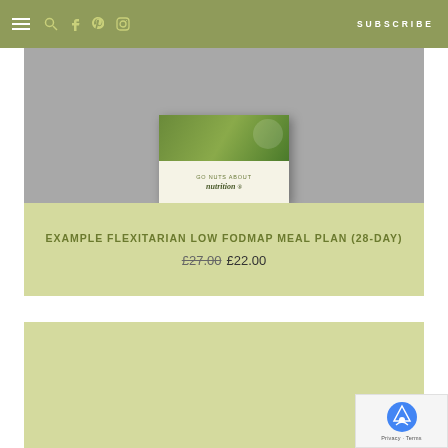SUBSCRIBE
[Figure (photo): Product image of a booklet/meal plan guide with green cover and text 'GO NUTS ABOUT nutrition']
EXAMPLE FLEXITARIAN LOW FODMAP MEAL PLAN (28-DAY)
£27.00 £22.00
[Figure (photo): Second product card area, empty/light green background]